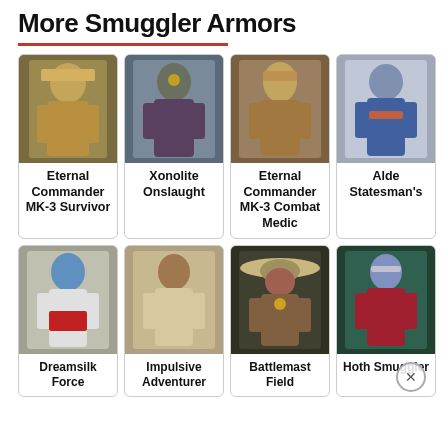More Smuggler Armors
[Figure (photo): Grid of character armor images from a game, two rows of four, showing various smuggler armor sets with labels below each image]
Eternal Commander MK-3 Survivor
Xonolite Onslaught
Eternal Commander MK-3 Combat Medic
Alde Statesman's
Dreamsilk Force
Impulsive Adventurer
Battlemast Field
Hoth Smuggler